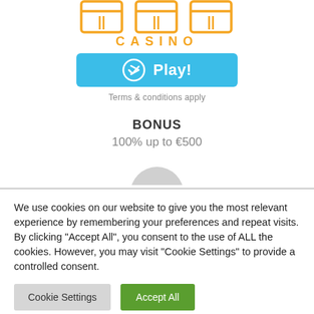[Figure (logo): Casino logo with yellow border slot machine symbols and CASINO text in yellow]
[Figure (other): Blue Play! button with checkmark icon]
Terms & conditions apply
BONUS
100% up to €500
We use cookies on our website to give you the most relevant experience by remembering your preferences and repeat visits. By clicking "Accept All", you consent to the use of ALL the cookies. However, you may visit "Cookie Settings" to provide a controlled consent.
Cookie Settings
Accept All